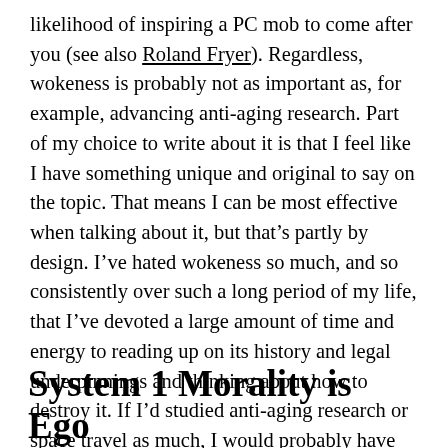likelihood of inspiring a PC mob to come after you (see also Roland Fryer). Regardless, wokeness is probably not as important as, for example, advancing anti-aging research. Part of my choice to write about it is that I feel like I have something unique and original to say on the topic. That means I can be most effective when talking about it, but that’s partly by design. I’ve hated wokeness so much, and so consistently over such a long period of my life, that I’ve devoted a large amount of time and energy to reading up on its history and legal underpinnings and thinking about how to destroy it. If I’d studied anti-aging research or space travel as much, I would probably have something interesting and useful to say about those topics.
System 1 Morality is Ego